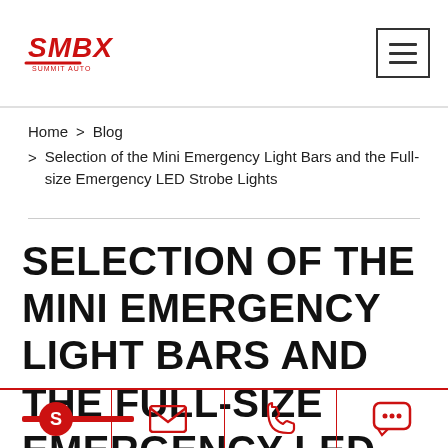SMBX [logo] | hamburger menu
Home > Blog > Selection of the Mini Emergency Light Bars and the Full-size Emergency LED Strobe Lights
SELECTION OF THE MINI EMERGENCY LIGHT BARS AND THE FULL-SIZE EMERGENCY LED STROBE LIGHTS
Contact icons: Skype, Email, Phone, Chat